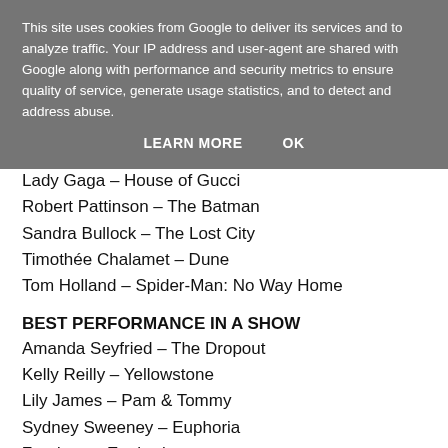This site uses cookies from Google to deliver its services and to analyze traffic. Your IP address and user-agent are shared with Google along with performance and security metrics to ensure quality of service, generate usage statistics, and to detect and address abuse.
LEARN MORE   OK
Lady Gaga – House of Gucci
Robert Pattinson – The Batman
Sandra Bullock – The Lost City
Timothée Chalamet – Dune
Tom Holland – Spider-Man: No Way Home
BEST PERFORMANCE IN A SHOW
Amanda Seyfried – The Dropout
Kelly Reilly – Yellowstone
Lily James – Pam & Tommy
Sydney Sweeney – Euphoria
Zendaya – Euphoria
BEST HERO
Daniel Craig – No Time to Die